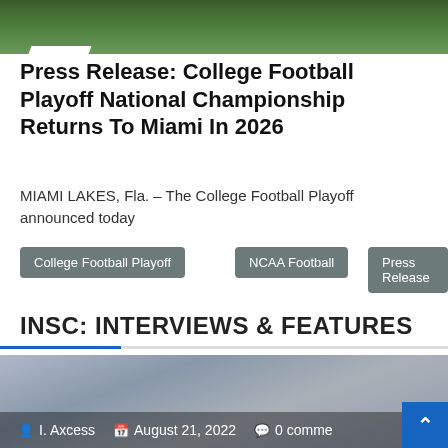[Figure (photo): Top portion of a football game photo showing green grass field with a white yard line marking and parts of players uniforms]
Press Release: College Football Playoff National Championship Returns To Miami In 2026
MIAMI LAKES, Fla. – The College Football Playoff announced today
College Football Playoff
NCAA Football
Press Release
INSC: INTERVIEWS & FEATURES
[Figure (photo): Winter/snowy outdoor scene photo with overlaid metadata showing author I. Axcess, date August 21 2022, and 0 comments, with a blue scroll-to-top button]
I. Axcess  August 21, 2022  0 comme